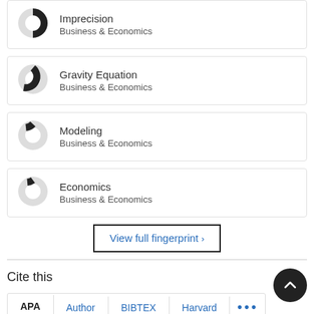Imprecision - Business & Economics
Gravity Equation - Business & Economics
Modeling - Business & Economics
Economics - Business & Economics
View full fingerprint ›
Cite this
APA | Author | BIBTEX | Harvard | ...